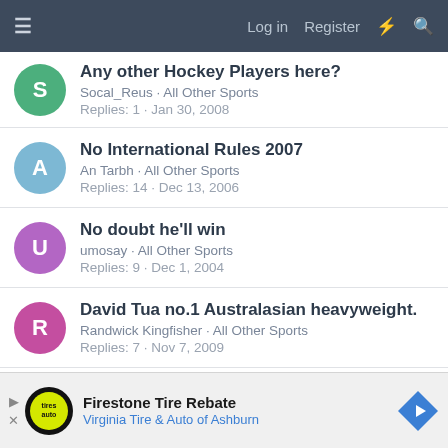≡  Log in  Register  ⚡  🔍
Any other Hockey Players here? — Socal_Reus · All Other Sports — Replies: 1 · Jan 30, 2008
No International Rules 2007 — An Tarbh · All Other Sports — Replies: 14 · Dec 13, 2006
No doubt he'll win — umosay · All Other Sports — Replies: 9 · Dec 1, 2004
David Tua no.1 Australasian heavyweight. — Randwick Kingfisher · All Other Sports — Replies: 7 · Nov 7, 2009
Carlos Spencer and Carne Krige to take a...
Firestone Tire Rebate — Virginia Tire & Auto of Ashburn